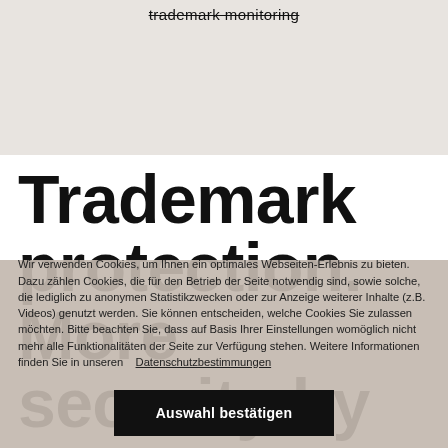trademark monitoring
Trademark protection. More security by
Wir verwenden Cookies, um Ihnen ein optimales Webseiten-Erlebnis zu bieten. Dazu zählen Cookies, die für den Betrieb der Seite notwendig sind, sowie solche, die lediglich zu anonymen Statistikzwecken oder zur Anzeige weiterer Inhalte (z.B. Videos) genutzt werden. Sie können entscheiden, welche Cookies Sie zulassen möchten. Bitte beachten Sie, dass auf Basis Ihrer Einstellungen womöglich nicht mehr alle Funktionalitäten der Seite zur Verfügung stehen. Weitere Informationen finden Sie in unseren    Datenschutzbestimmungen
Auswahl bestätigen